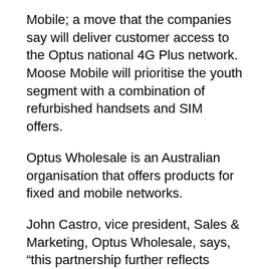Mobile; a move that the companies say will deliver customer access to the Optus national 4G Plus network. Moose Mobile will prioritise the youth segment with a combination of refurbished handsets and SIM offers.
Optus Wholesale is an Australian organisation that offers products for fixed and mobile networks.
John Castro, vice president, Sales & Marketing, Optus Wholesale, says, “this partnership further reflects Optus’ commitment to diversifying its customer base which includes delivering services to niche players in addition to major MVNOs.
Castro says that refurbished handset sales are set to grow significantly over the next three years and that this represents a strategic approach from Moose Mobile.
Dean Lwin, CEO, Moose Mobile, comments, “the